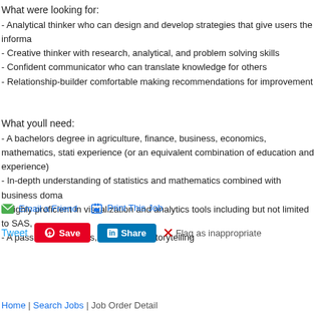What were looking for:
- Analytical thinker who can design and develop strategies that give users the informa
- Creative thinker with research, analytical, and problem solving skills
- Confident communicator who can translate knowledge for others
- Relationship-builder comfortable making recommendations for improvement
What youll need:
- A bachelors degree in agriculture, finance, business, economics, mathematics, stati experience (or an equivalent combination of education and experience)
- In-depth understanding of statistics and mathematics combined with business doma
- Highly proficient in visualization and analytics tools including but not limited to SAS,
- A passion for analysis, insights and storytelling
Email a Friend   Print This Job
Tweet   Save   Share   Flag as inappropriate
Home | Search Jobs | Job Order Detail